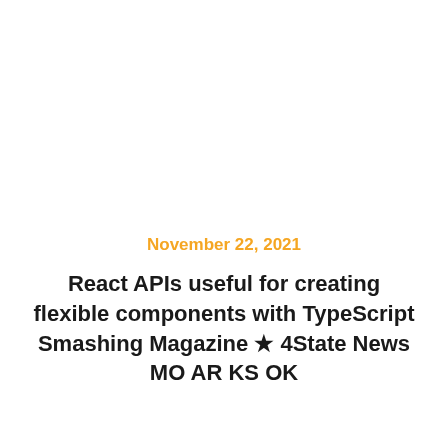November 22, 2021
React APIs useful for creating flexible components with TypeScript Smashing Magazine ★ 4State News MO AR KS OK